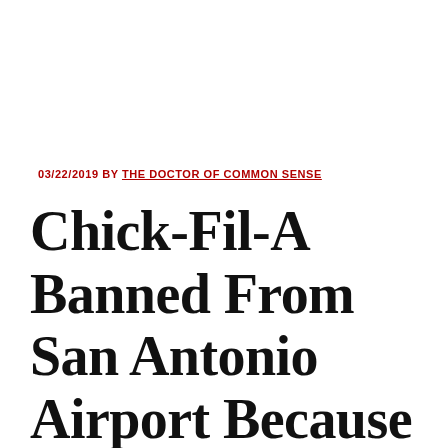03/22/2019 BY THE DOCTOR OF COMMON SENSE
Chick-Fil-A Banned From San Antonio Airport Because Of The Gay Mafia